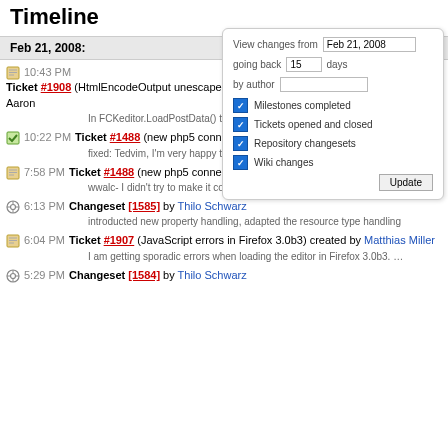Timeline
Feb 21, 2008:
10:43 PM Ticket #1908 (HtmlEncodeOutput unescapes incorrectly on some strings) created by Aaron
In FCKeditor.LoadPostData() the code that handles reverting the …
10:22 PM Ticket #1488 (new php5 connector) closed by Wiktor Walc
fixed: Tedvim, I'm very happy that you want to help us, however let me …
7:58 PM Ticket #1488 (new php5 connector) reopened by Robert Hafner
wwalc- I didn't try to make it compatible with PHP6, I just tried to …
6:13 PM Changeset [1585] by Thilo Schwarz
introducted new property handling, adapted the resource type handling
6:04 PM Ticket #1907 (JavaScript errors in Firefox 3.0b3) created by Matthias Miller
I am getting sporadic errors when loading the editor in Firefox 3.0b3. …
5:29 PM Changeset [1584] by Thilo Schwarz
[Figure (screenshot): Sidebar filter box with date input Feb 21, 2008, going back 15 days, by author field, checkboxes for Milestones completed, Tickets opened and closed, Repository changesets, Wiki changes, and Update button]